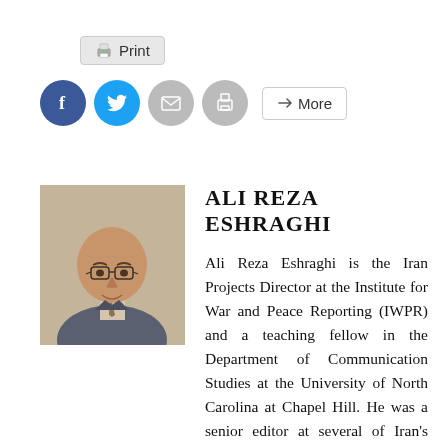[Figure (screenshot): Print button with printer icon]
[Figure (screenshot): Social share bar with Facebook, Twitter, email, print circle buttons and a More button]
[Figure (photo): Headshot photo of Ali Reza Eshraghi, a bald man with glasses wearing a suit and tie]
ALI REZA ESHRAGHI
Ali Reza Eshraghi is the Iran Projects Director at the Institute for War and Peace Reporting (IWPR) and a teaching fellow in the Department of Communication Studies at the University of North Carolina at Chapel Hill. He was a senior editor at several of Iran's reformist dailies. During his more than 15-year career in journalism, he has published hundreds of articles and op-ed pieces in various